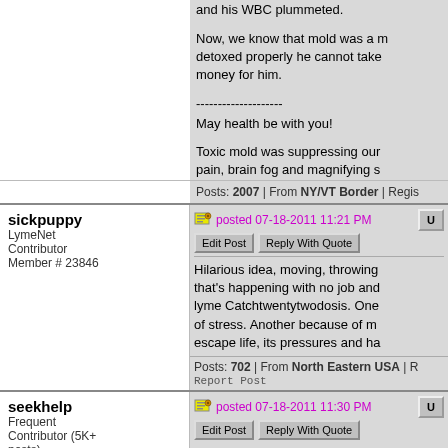and his WBC plummeted.
Now, we know that mold was a [factor], detoxed properly he cannot take [treatment], money for him.
--------------------
May health be with you!
Toxic mold was suppressing our [immune system], pain, brain fog and magnifying s[ymptoms], the healing began.
Posts: 2007 | From NY/VT Border | Regis[tered]
sickpuppy
LymeNet Contributor
Member # 23846
posted 07-18-2011 11:21 PM
Edit Post  Reply With Quote
Hilarious idea, moving, throwing [away], that's happening with no job and [money], lyme Catchtwentytwodosis. One [source] of stress. Another because of m[old], escape life, its pressures and ha[ssle]
Posts: 702 | From North Eastern USA | R[eport]
Report Post
seekhelp
Frequent Contributor (5K+ posts)
posted 07-18-2011 11:30 PM
Edit Post  Reply With Quote